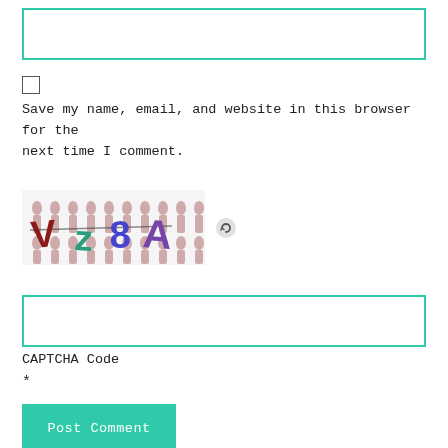[Figure (screenshot): Empty text input field with teal/green border]
[Figure (screenshot): Checkbox (unchecked) UI element]
Save my name, email, and website in this browser for the next time I comment.
[Figure (screenshot): CAPTCHA image showing distorted text 'Vz8A' with colorful letters on a background of silhouetted figures, and a refresh/reload icon to the right]
[Figure (screenshot): Empty CAPTCHA code input field with teal/green border]
CAPTCHA Code
*
[Figure (screenshot): Post Comment button with teal/green background and white monospace text]